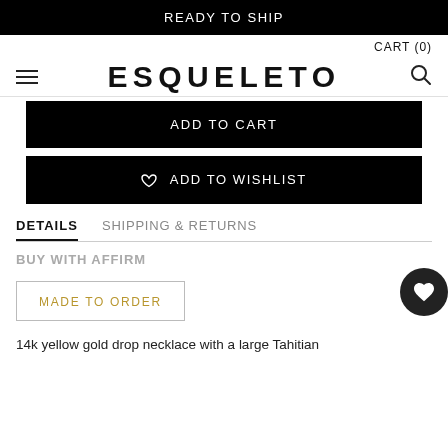READY TO SHIP
CART (0)
ESQUELETO
ADD TO CART
♡  ADD TO WISHLIST
DETAILS
SHIPPING & RETURNS
BUY WITH AFFIRM
MADE TO ORDER
14k yellow gold drop necklace with a large Tahitian